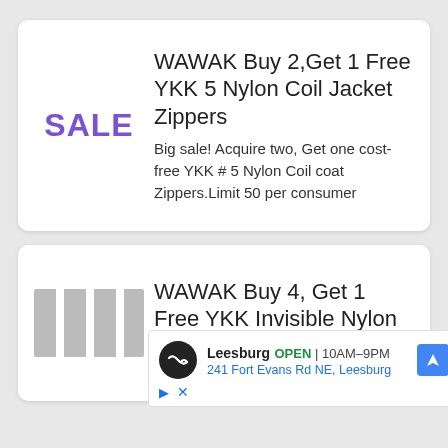WAWAK Buy 2,Get 1 Free YKK 5 Nylon Coil Jacket Zippers
Big sale! Acquire two, Get one cost-free YKK # 5 Nylon Coil coat Zippers.Limit 50 per consumer
WAWAK Buy 4, Get 1 Free YKK Invisible Nylon Zippers
[Figure (infographic): Advertisement overlay: Leesburg store, OPEN 10AM-9PM, 241 Fort Evans Rd NE, Leesburg, with navigation icon]